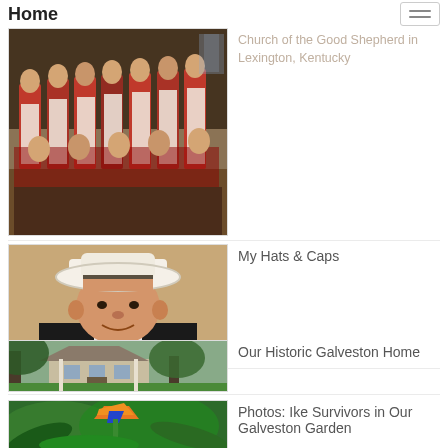Home
[Figure (photo): Partial view of a group photo — choir or congregation in red robes in a church]
Church of the Good Shepherd in Lexington, Kentucky
[Figure (photo): Man wearing a white cowboy hat and dark suit, portrait photo]
My Hats & Caps
[Figure (photo): Historic two-story house with large trees in Galveston]
Our Historic Galveston Home
[Figure (photo): Bird of paradise flower with orange and blue blooms amid green tropical foliage]
Photos: Ike Survivors in Our Galveston Garden